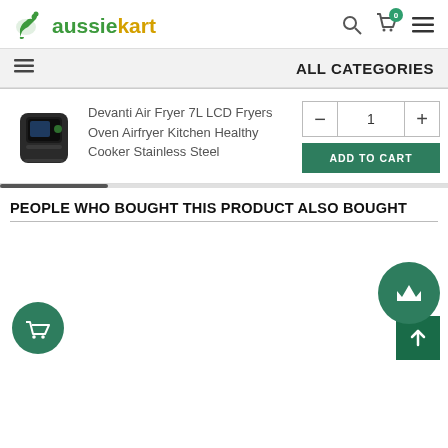aussiekart — ALL CATEGORIES
Devanti Air Fryer 7L LCD Fryers Oven Airfryer Kitchen Healthy Cooker Stainless Steel
PEOPLE WHO BOUGHT THIS PRODUCT ALSO BOUGHT